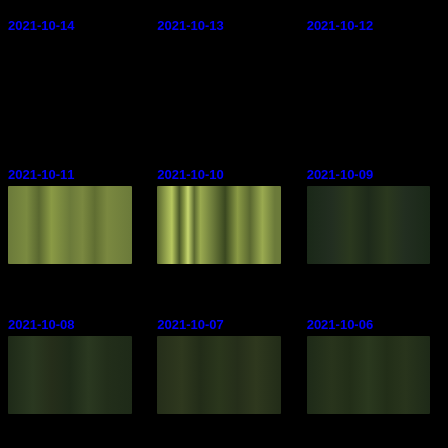2021-10-14
[Figure (photo): Dark/black image panel for date 2021-10-14]
2021-10-13
[Figure (photo): Dark/black image panel for date 2021-10-13]
2021-10-12
[Figure (photo): Dark/black image panel for date 2021-10-12]
2021-10-11
[Figure (photo): Spectral/barcode-style image with olive-green vertical stripes for date 2021-10-11]
2021-10-10
[Figure (photo): Spectral/barcode-style image with bright olive-green and white vertical stripes for date 2021-10-10]
2021-10-09
[Figure (photo): Dark teal/green spectral image for date 2021-10-09]
2021-10-08
[Figure (photo): Dark green spectral image for date 2021-10-08]
2021-10-07
[Figure (photo): Dark green spectral image for date 2021-10-07]
2021-10-06
[Figure (photo): Dark green spectral image for date 2021-10-06]